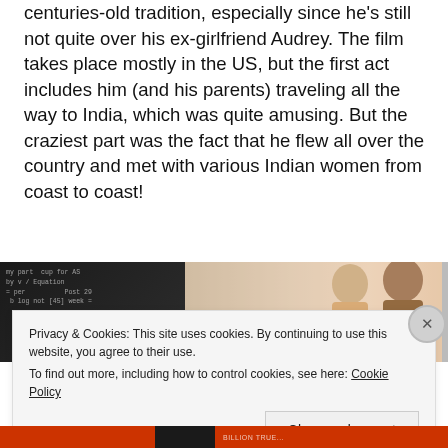centuries-old tradition, especially since he's still not quite over his ex-girlfriend Audrey. The film takes place mostly in the US, but the first act includes him (and his parents) traveling all the way to India, which was quite amusing. But the craziest part was the fact that he flew all over the country and met with various Indian women from coast to coast!
[Figure (photo): Photo showing people in front of a chalkboard with writing on it; an older man and a woman with dark hair visible on the right side.]
Privacy & Cookies: This site uses cookies. By continuing to use this website, you agree to their use.
To find out more, including how to control cookies, see here: Cookie Policy